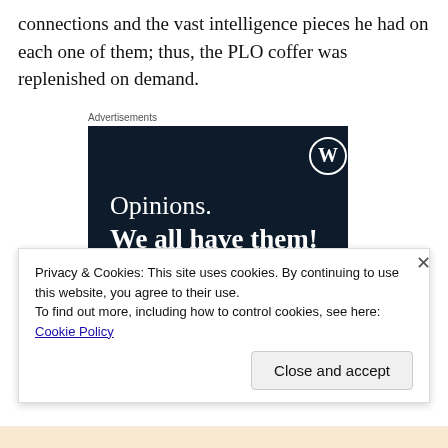connections and the vast intelligence pieces he had on each one of them; thus, the PLO coffer was replenished on demand.
Advertisements
[Figure (illustration): Dark navy blue advertisement banner with WordPress logo (W in circle) in top right. Text reads 'Opinions.' on one line and 'We all have them!' in bold below. Pink button bar at bottom left, grey circle at bottom right.]
Privacy & Cookies: This site uses cookies. By continuing to use this website, you agree to their use.
To find out more, including how to control cookies, see here: Cookie Policy